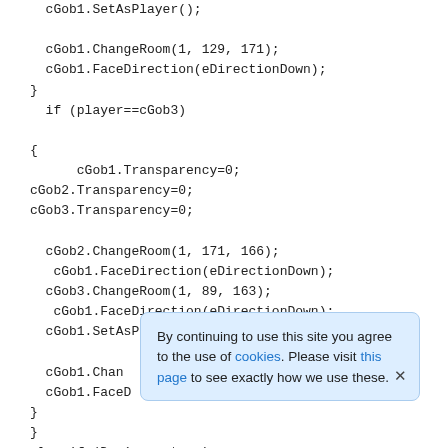cGob1.SetAsPlayer();

  cGob1.ChangeRoom(1, 129, 171);
  cGob1.FaceDirection(eDirectionDown);
}
  if (player==cGob3)

{
      cGob1.Transparency=0;
cGob2.Transparency=0;
cGob3.Transparency=0;

  cGob2.ChangeRoom(1, 171, 166);
   cGob1.FaceDirection(eDirectionDown);
  cGob3.ChangeRoom(1, 89, 163);
   cGob1.FaceDirection(eDirectionDown);
  cGob1.SetAsPlayer();

  cGob1.Chan
  cGob1.FaceD
}
}
else if (Dec1one==true)

{
RemoveWalkableArea(2);
By continuing to use this site you agree to the use of cookies. Please visit this page to see exactly how we use these.